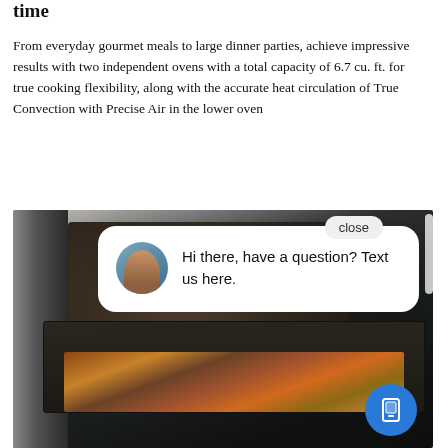time
From everyday gourmet meals to large dinner parties, achieve impressive results with two independent ovens with a total capacity of 6.7 cu. ft. for true cooking flexibility, along with the accurate heat circulation of True Convection with Precise Air in the lower oven
[Figure (screenshot): Oven with food inside, overlaid with a live chat popup widget saying 'Hi there, have a question? Text us here.' with a woman's avatar photo. A close button and a mobile/text icon button are visible.]